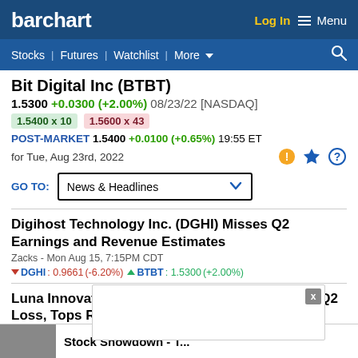barchart | Log In | Menu | Stocks | Futures | Watchlist | More
Bit Digital Inc (BTBT)
1.5300 +0.0300 (+2.00%) 08/23/22 [NASDAQ]
1.5400 x 10   1.5600 x 43
POST-MARKET 1.5400 +0.0100 (+0.65%) 19:55 ET
for Tue, Aug 23rd, 2022
GO TO: News & Headlines
Digihost Technology Inc. (DGHI) Misses Q2 Earnings and Revenue Estimates
Zacks - Mon Aug 15, 7:15PM CDT
DGHI : 0.9661 (-6.20%) BTBT : 1.5300 (+2.00%)
Luna Innovations Incorporated (LUNA) Reports Q2 Loss, Tops Revenue Estimates
Zacks -
LUNA